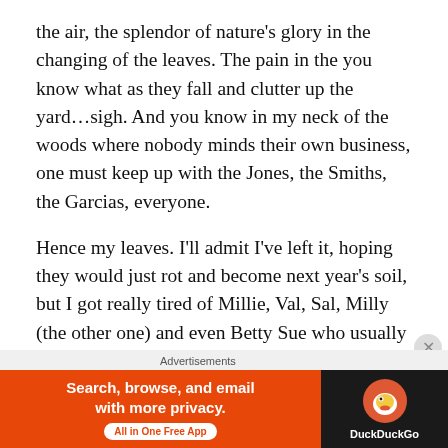the air, the splendor of nature's glory in the changing of the leaves. The pain in the you know what as they fall and clutter up the yard…sigh. And you know in my neck of the woods where nobody minds their own business, one must keep up with the Jones, the Smiths, the Garcias, everyone.
Hence my leaves. I'll admit I've left it, hoping they would just rot and become next year's soil, but I got really tired of Millie, Val, Sal, Milly (the other one) and even Betty Sue who usually couldn't give a toss what state my yard is in tsking and shaking their heads at me in utter disgrace that my lawn wasn't neat and tidy, all the leaves raked away, not somehow offending them with their untidy display...
Advertisements
[Figure (other): DuckDuckGo advertisement banner: orange left panel with text 'Search, browse, and email with more privacy. All in One Free App' and dark right panel with DuckDuckGo logo and name.]